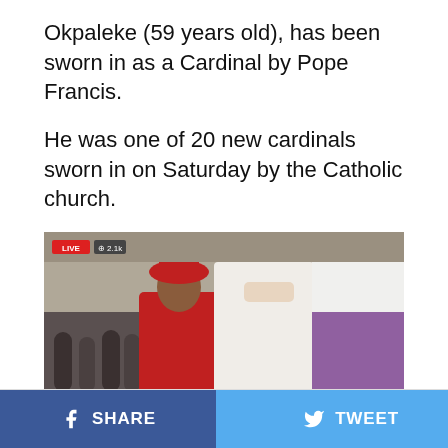Okpaleke (59 years old), has been sworn in as a Cardinal by Pope Francis.
He was one of 20 new cardinals sworn in on Saturday by the Catholic church.
[Figure (photo): A cardinal in red robes receiving a blessing or laying of hands from a figure in white papal vestments and mitre, inside a cathedral. A live TV broadcast overlay is visible with a red LIVE badge and viewer count.]
The governor of Anambra State, Chukwuma Soludo, and
CONTINUE READING
SHARE   TWEET   ...